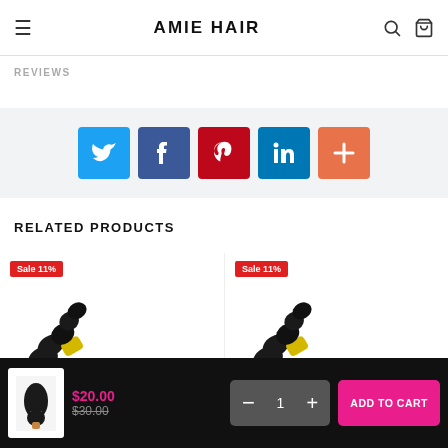AMIE HAIR
REVIEWS
[Figure (infographic): Social share buttons: Twitter (blue), Facebook (dark blue), Pinterest (red), LinkedIn (blue), Plus/More (orange)]
RELATED PRODUCTS
[Figure (photo): Hair product with Sale 11% badge — left product card]
[Figure (photo): Hair product with Sale 11% badge — right product card]
$20.00
$30.00
ADD TO CART